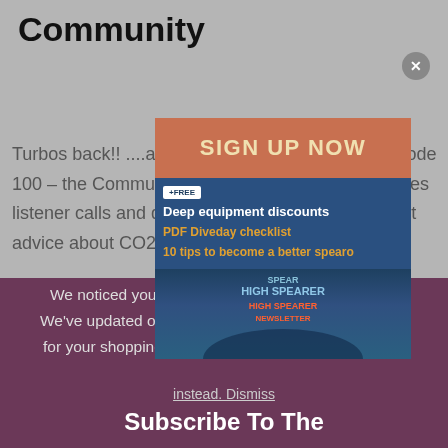Community
Turbos back!! ....and we get up to mischief in episode 100 – the Community Special! This episode features listener calls and questions as well as some expert advice about CO2 tolerance and training from
[Figure (screenshot): A popup modal overlay showing a 'SIGN UP NOW' banner in orange/salmon color at top, then a blue-tinted promotional image with text: '+FREE badge', 'Deep equipment discounts', 'PDF Diveday checklist', '10 tips to become a better spearo', and a bottom section showing a spearfishing newsletter/magazine cover.]
We noticed you're visiting from United States (US). We've updated our prices to United States (US) dollar for your shopping convenience. Use Australian dollar instead. Dismiss
Subscribe To The